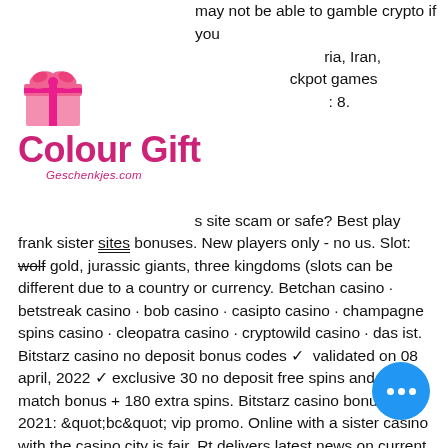[Figure (logo): Colour Gift logo with pink gift box icon and text 'Colour Gift' in magenta, with 'Geschenkjes.com' subtitle]
may not be able to gamble crypto if you ria, Iran, ckpot games : 8. s site scam or safe? Best play frank sister sites bonuses. New players only - no us. Slot: wolf gold, jurassic giants, three kingdoms (slots can be different due to a country or currency. Betchan casino · betstreak casino · bob casino · casipto casino · champagne spins casino · cleopatra casino · cryptowild casino · das ist. Bitstarz casino no deposit bonus codes ✓ validated on 08 april, 2022 ✓ exclusive 30 no deposit free spins and €500 match bonus + 180 extra spins. Bitstarz casino bonus code 2021: &quot;bc&quot; vip promo. Online with a sister casino with the casino city is fair. Rt delivers latest news on current events from around the world including special reports, viral news and exclusive videos. This forum is empty. Oh.